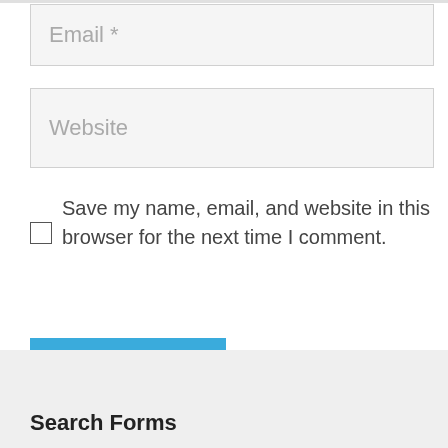Email *
Website
Save my name, email, and website in this browser for the next time I comment.
Post Comment
Search Forms